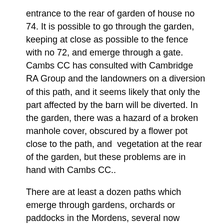entrance to the rear of garden of house no 74. It is possible to go through the garden, keeping at close as possible to the fence with no 72, and emerge through a gate.  Cambs CC has consulted with Cambridge RA Group and the landowners on a diversion of this path, and it seems likely that only the part affected by the barn will be diverted. In the garden, there was a hazard of a broken manhole cover, obscured by a flower pot close to the path, and  vegetation at the rear of the garden, but these problems are in hand with Cambs CC..
There are at least a dozen paths which emerge through gardens, orchards or paddocks in the Mordens, several now  waymarked and in good order; some like fp 44 being worked on; and a few still in a difficult condition. Guilden Morden fp 20 (behind Town Farm) is another path being considered for diversion. At present it is obstructed by a stable block.
I hope this article has given some insight into